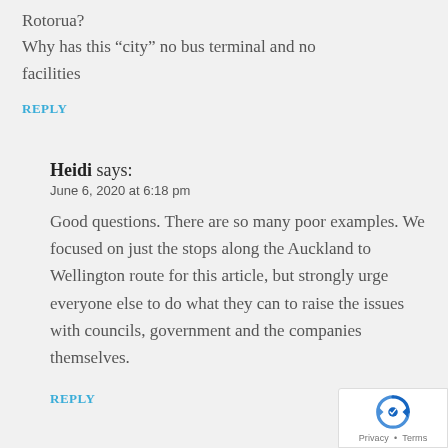Rotorua?
Why has this “city” no bus terminal and no facilities
REPLY
Heidi says:
June 6, 2020 at 6:18 pm
Good questions. There are so many poor examples. We focused on just the stops along the Auckland to Wellington route for this article, but strongly urge everyone else to do what they can to raise the issues with councils, government and the companies themselves.
REPLY